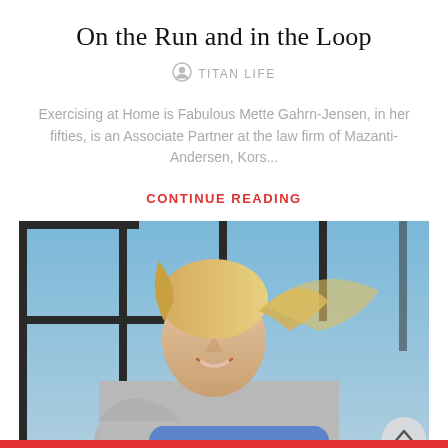On the Run and in the Loop
TITAN LIFE
Exercising at Home is Fabulous Mette Gahrn-Jensen, in her fifties, is an Associate Partner at the law firm of Mazanti-Andersen, Kors...
CONTINUE READING
[Figure (photo): Blonde woman smiling while running on a treadmill in a gym, wearing a grey athletic shirt, with blue-tinted windows in the background.]